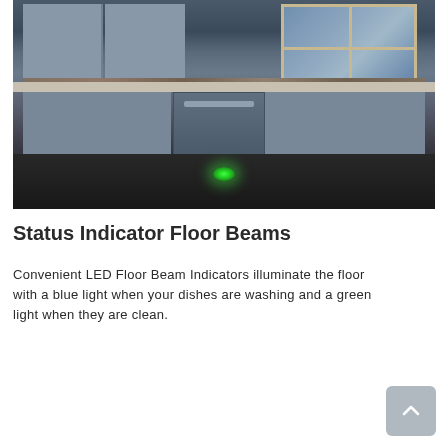[Figure (photo): Kitchen scene with dark dishwasher in the center, white cabinets on either side, a window in the upper right, and a green LED floor beam indicator light glowing on the dark floor beneath the dishwasher.]
Status Indicator Floor Beams
Convenient LED Floor Beam Indicators illuminate the floor with a blue light when your dishes are washing and a green light when they are clean.